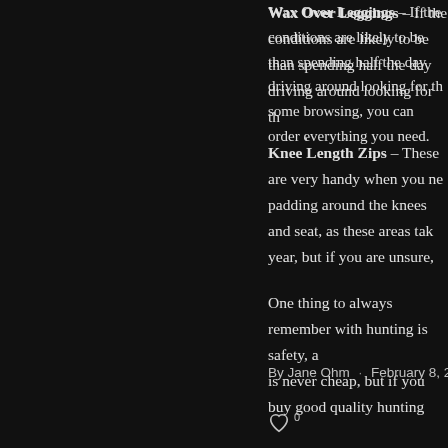Wax Over Leggings – If the conditions are likely to be [cut off] than spending half the day driving around looking for th[cut off] some browsing, you can order everything you need.
Knee Length Zips – These are very handy when you ne[cut off] padding around the knees and seat, as these areas tak[cut off] year, but if you are unsure, the online supplier can advis[cut off]
One thing to always remember with hunting is safety, a[cut off] is never cheap, but if you buy good quality hunting trou[cut off] you visited a high street store and they also have a wid[cut off] will not only be suitable, they will afford you maximum c[cut off]
By Jane Ohm · February 8, 2020 · 63 Views